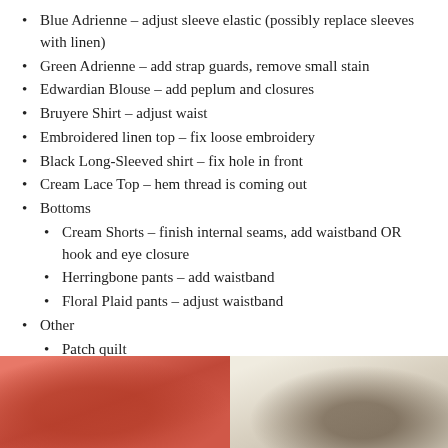Blue Adrienne – adjust sleeve elastic (possibly replace sleeves with linen)
Green Adrienne – add strap guards, remove small stain
Edwardian Blouse – add peplum and closures
Bruyere Shirt – adjust waist
Embroidered linen top – fix loose embroidery
Black Long-Sleeved shirt – fix hole in front
Cream Lace Top – hem thread is coming out
Bottoms
Cream Shorts – finish internal seams, add waistband OR hook and eye closure
Herringbone pants – add waistband
Floral Plaid pants – adjust waistband
Other
Patch quilt
[Figure (photo): Photo of red/pink fabric with visible texture]
[Figure (photo): Photo of a person near a light-colored surface, appears to be a sewing or craft workspace]